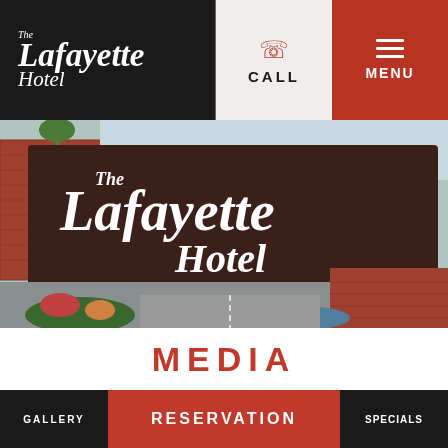The Lafayette Hotel — CALL | MENU
[Figure (photo): Outdoor signage for The Lafayette Hotel Swim Club & Bungalows, a large dark brown rectangular sign with white script lettering, surrounded by landscaping, brick walls, and a red brick building in the background.]
MEDIA
GALLERY | RESERVATION | SPECIALS